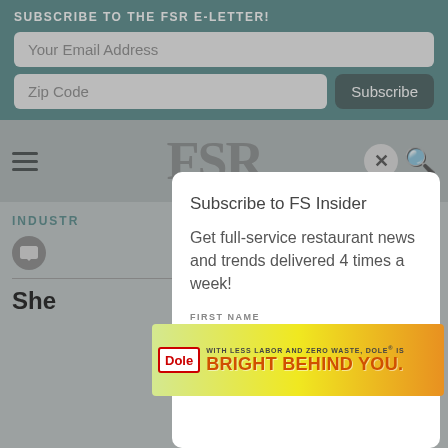SUBSCRIBE TO THE FSR E-LETTER!
Your Email Address
Zip Code
Subscribe
[Figure (logo): FSR magazine logo in large serif letters]
INDUSTRY
Subscribe to FS Insider
Get full-service restaurant news and trends delivered 4 times a week!
FIRST NAME
[Figure (infographic): Dole advertisement banner: WITH LESS LABOR AND ZERO WASTE, DOLE® IS BRIGHT BEHIND YOU.]
LAST NAME